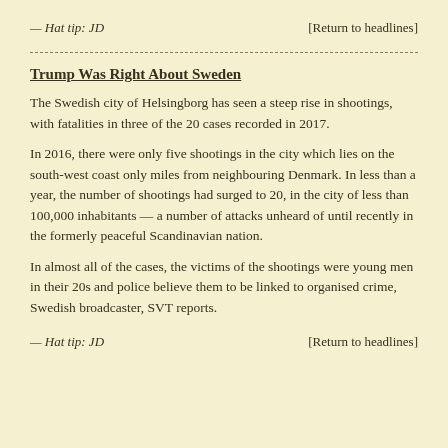— Hat tip: JD   [Return to headlines]
Trump Was Right About Sweden
The Swedish city of Helsingborg has seen a steep rise in shootings, with fatalities in three of the 20 cases recorded in 2017.
In 2016, there were only five shootings in the city which lies on the south-west coast only miles from neighbouring Denmark. In less than a year, the number of shootings had surged to 20, in the city of less than 100,000 inhabitants — a number of attacks unheard of until recently in the formerly peaceful Scandinavian nation.
In almost all of the cases, the victims of the shootings were young men in their 20s and police believe them to be linked to organised crime, Swedish broadcaster, SVT reports.
— Hat tip: JD   [Return to headlines]